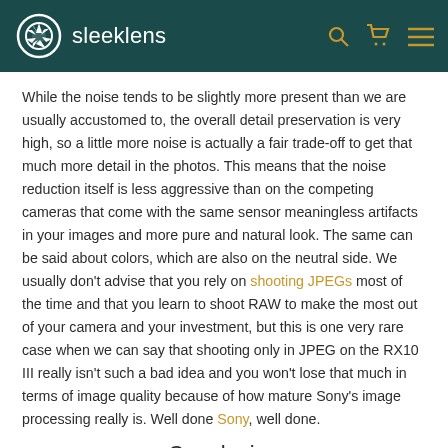sleeklens
While the noise tends to be slightly more present than we are usually accustomed to, the overall detail preservation is very high, so a little more noise is actually a fair trade-off to get that much more detail in the photos. This means that the noise reduction itself is less aggressive than on the competing cameras that come with the same sensor meaningless artifacts in your images and more pure and natural look. The same can be said about colors, which are also on the neutral side. We usually don't advise that you rely on shooting JPEGs most of the time and that you learn to shoot RAW to make the most out of your camera and your investment, but this is one very rare case when we can say that shooting only in JPEG on the RX10 III really isn't such a bad idea and you won't lose that much in terms of image quality because of how mature Sony's image processing really is. Well done Sony, well done.
Conclusion